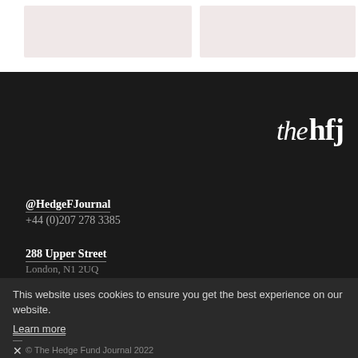[Figure (other): Two light pinkish-grey rectangular placeholder boxes at the top of the page on white background]
[Figure (logo): The Hedge Fund Journal logo: 'the' in italic light serif font followed by 'hfj' in bold sans-serif, all white on dark background]
@HedgeFJournal
+44 (0)207 278 3385
288 Upper Street
This website uses cookies to ensure you get the best experience on our website.
Learn more
✕
© The Hedge Fund Journal 2022